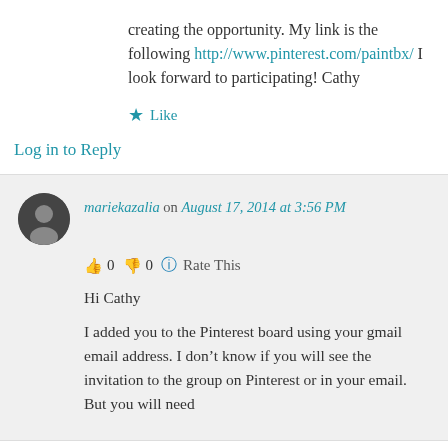creating the opportunity. My link is the following http://www.pinterest.com/paintbx/ I look forward to participating! Cathy
★ Like
Log in to Reply
mariekazalia on August 17, 2014 at 3:56 PM
👍 0 👎 0 ℹ Rate This
Hi Cathy
I added you to the Pinterest board using your gmail email address. I don't know if you will see the invitation to the group on Pinterest or in your email. But you will need